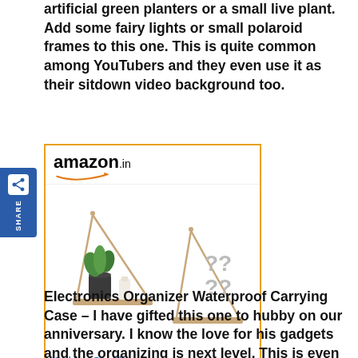artificial green planters or a small live plant. Add some fairy lights or small polaroid frames to this one. This is quite common among YouTubers and they even use it as their sitdown video background too.
[Figure (other): Amazon.in advertisement showing Golden Spiral Stair Hanging wall shelves product with price INR 399.00 and Shop now button]
Electronics Organizer Waterproof Carrying Case – I have gifted this one to hubby on our anniversary. I know the love for his gadgets and the organizing is next level. This is even